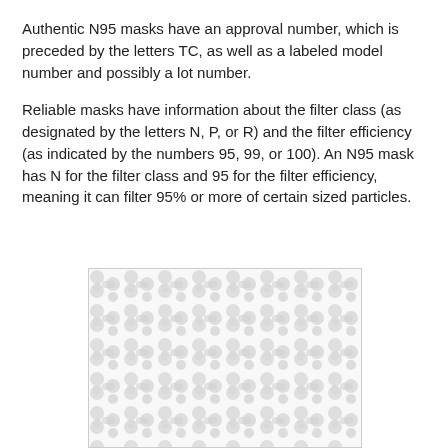Authentic N95 masks have an approval number, which is preceded by the letters TC, as well as a labeled model number and possibly a lot number.
Reliable masks have information about the filter class (as designated by the letters N, P, or R) and the filter efficiency (as indicated by the numbers 95, 99, or 100). An N95 mask has N for the filter class and 95 for the filter efficiency, meaning it can filter 95% or more of certain sized particles.
[Figure (illustration): Close-up image of N95 mask filter material showing a repeating pattern of interlocking rounded shapes in light gray, representing the fibrous filter structure.]